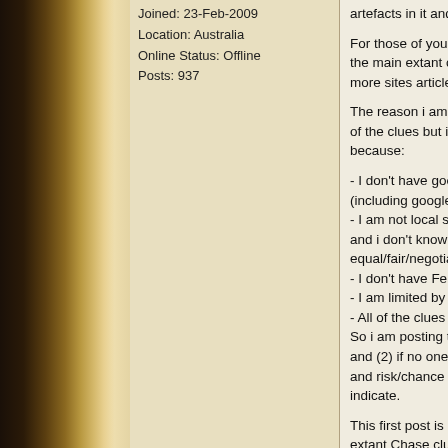Joined: 23-Feb-2009
Location: Australia
Online Status: Offline
Posts: 937
artefacts in it and it is a modern history
For those of you who haven't previously below the main extant clues. You can a engine for more sites articles and infor
The reason i am posting this thread/top to some of the clues but it is not easy t treasure is in because:
- I don't have good enough net/web ac (including google earth);
- I am not local so i can't explore/inves and i don't know any locals who are tru equal/fair/negotiated shares;
- I don't have Fenn's 2 books which he
- I am limited by brain best whole abilit
- All of the clues have multiple possible So i am posting this thread to (1) first a and (2) if no one is willing then i just ha and risk/chance not getting any fair sha indicate.
This first post is only to introduce the to the extant Chase clues. I won't start on wait to see if anyone is willing to team
Now here are the extant clues that hav